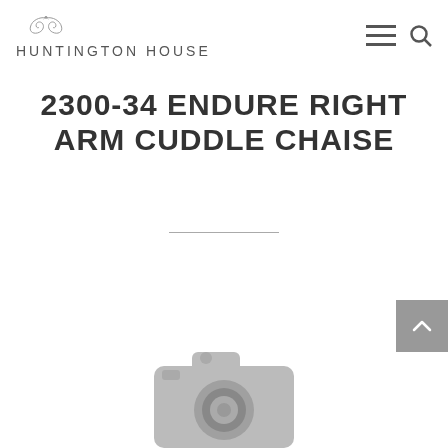HUNTINGTON HOUSE
2300-34 ENDURE RIGHT ARM CUDDLE CHAISE
[Figure (photo): Camera placeholder icon indicating no product photo is available yet. Gray camera silhouette icon centered at the bottom of the page.]